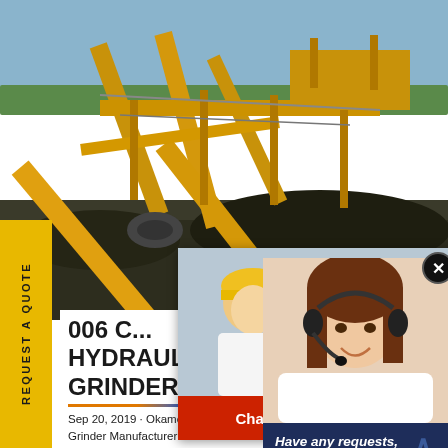[Figure (photo): Large yellow mining/crushing equipment machinery at a quarry site with dark gravel piles and blue sky background]
REQUEST A QUOTE
006 C... HYDRAULIC AUTO SUF... GRINDER
Sep 20, 2019 · Okamoto ACC-1224D... Grinder Manufacturer: Okamoto Mo... N: 65192 Year: 2006 Specifications: Ta... 4"
[Figure (photo): Live Chat popup with workers in yellow hard hats, LIVE CHAT heading in red italic, Click for a Free Consultation text, Chat now and Chat later buttons]
[Figure (photo): Female customer service agent with headset smiling, with Have any requests click here text and Quotation button on dark blue background]